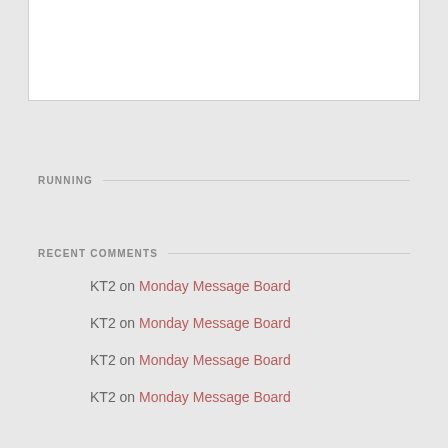[Figure (other): White content box at top of page]
RUNNING
RECENT COMMENTS
KT2 on Monday Message Board
KT2 on Monday Message Board
KT2 on Monday Message Board
KT2 on Monday Message Board